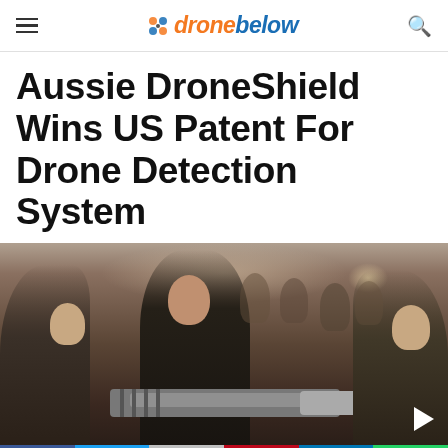dronebelow
Aussie DroneShield Wins US Patent For Drone Detection System
[Figure (photo): Group of people including a man in a dark jacket examining a drone detection device, surrounded by military and civilian personnel in an indoor setting.]
Facebook | Twitter | Gmail | Pinterest | LinkedIn | WhatsApp